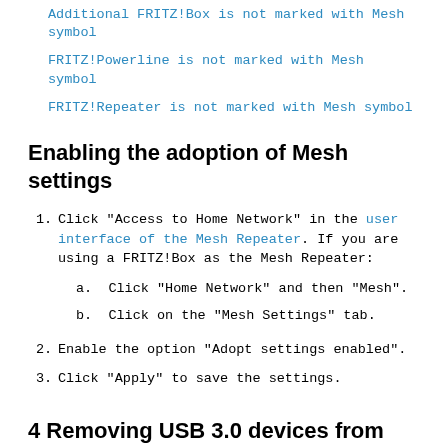Additional FRITZ!Box is not marked with Mesh symbol
FRITZ!Powerline is not marked with Mesh symbol
FRITZ!Repeater is not marked with Mesh symbol
Enabling the adoption of Mesh settings
1. Click "Access to Home Network" in the user interface of the Mesh Repeater. If you are using a FRITZ!Box as the Mesh Repeater:
a. Click "Home Network" and then "Mesh".
b. Click on the "Mesh Settings" tab.
2. Enable the option "Adopt settings enabled".
3. Click "Apply" to save the settings.
4 Removing USB 3.0 devices from